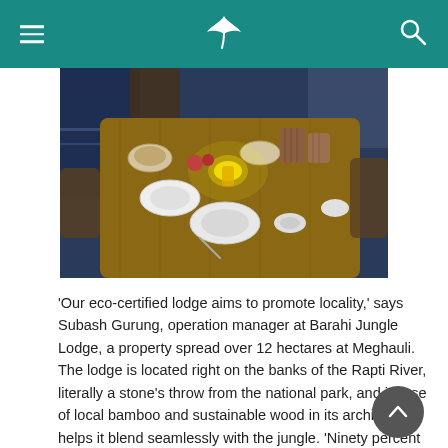Navigation bar with hamburger menu, logo, and search icon
[Figure (photo): Overhead view of a wooden dining table set with plates, bowls, a lit lamp, and wicker containers, with water visible in the background, taken at Barahi Jungle Lodge]
‘Our eco-certified lodge aims to promote locality,’ says Subash Gurung, operation manager at Barahi Jungle Lodge, a property spread over 12 hectares at Meghauli. The lodge is located right on the banks of the Rapti River, literally a stone’s throw from the national park, and its use of local bamboo and sustainable wood in its architecture helps it blend seamlessly with the jungle. ‘Ninety percent of our staff is from the surrounding villages; therefore we actively generate jobs in the community and improve their way of living. We also teach the locals to conserve our forests, as by doing so we can promote tourism in the area, which is one of the main sources of income in Nepal.’